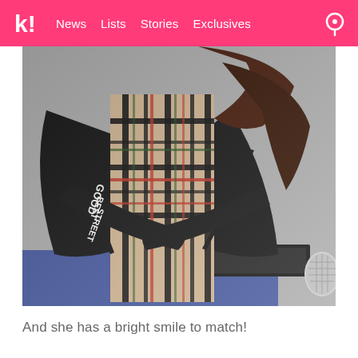k! News Lists Stories Exclusives
[Figure (photo): A person wearing a black jacket with 'GOOD STREET' text (mirrored/reversed) and a Burberry-style plaid scarf, leaning forward with arms crossed on a blue-cloth table. A microphone is visible at lower right. The face is not visible as the person is looking down.]
And she has a bright smile to match!